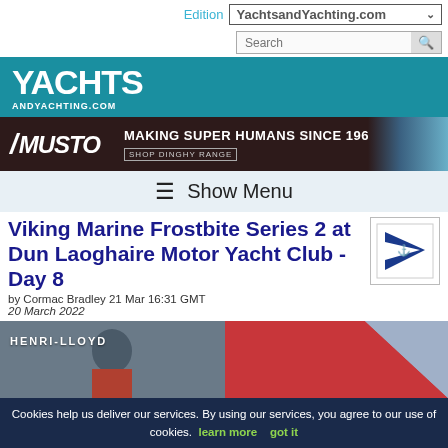Edition YachtsandYachting.com
[Figure (screenshot): YachtsAndYachting.com site logo banner with teal background]
[Figure (photo): Musto advertisement: Making Super Humans Since 1964, Shop Dinghy Range]
≡ Show Menu
Viking Marine Frostbite Series 2 at Dun Laoghaire Motor Yacht Club - Day 8
by Cormac Bradley 21 Mar 16:31 GMT
20 March 2022
[Figure (photo): Two photos: left shows a sailor wearing Henri-Lloyd gear; right shows red and blue sail fabric]
Cookies help us deliver our services. By using our services, you agree to our use of cookies. learn more   got it